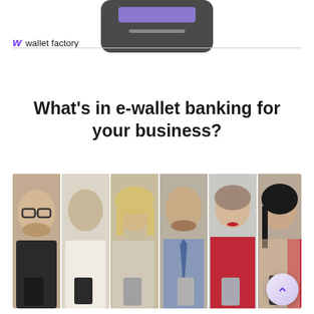[Figure (illustration): Partial top view of a smartphone/device in dark grey with a purple screen bar, shown against white background]
wallet factory
What's in e-wallet banking for your business?
[Figure (photo): Collage of six people (men and women of various ages) each looking down at their smartphones, arranged side by side in vertical strips]